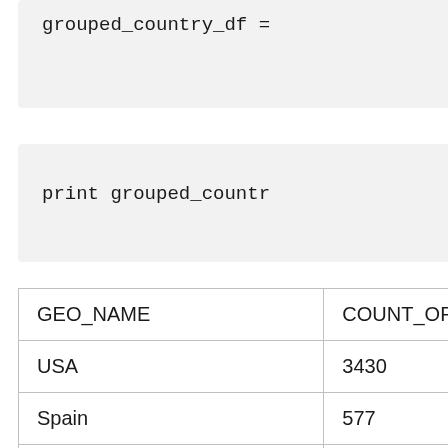[Figure (screenshot): Code block showing: grouped_country_df =]
[Figure (screenshot): Code block showing: print grouped_countr]
| GEO_NAME | COUNT_OF_PINK_KITTE... |
| --- | --- |
| USA | 3430 |
| Spain | 577 |
| Unite... | 353... |